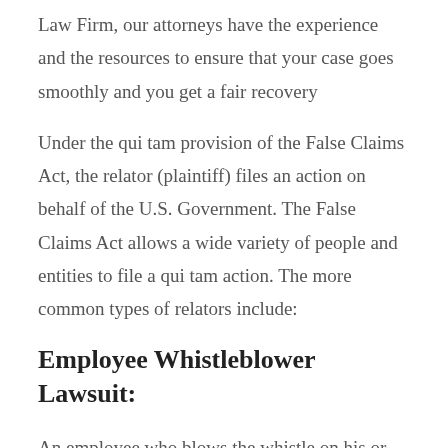Law Firm, our attorneys have the experience and the resources to ensure that your case goes smoothly and you get a fair recovery
Under the qui tam provision of the False Claims Act, the relator (plaintiff) files an action on behalf of the U.S. Government. The False Claims Act allows a wide variety of people and entities to file a qui tam action. The more common types of relators include:
Employee Whistleblower Lawsuit:
An employee who blows the whistle on his or her employer (commonly known as a "whistleblower") is one of the most common types of relators. Many